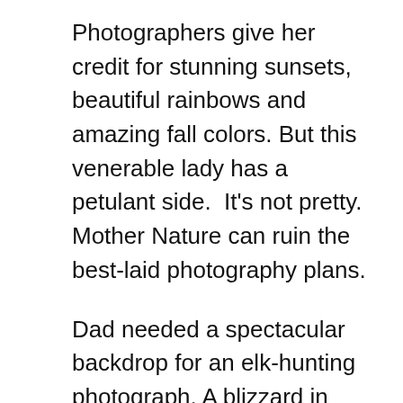Photographers give her credit for stunning sunsets, beautiful rainbows and amazing fall colors. But this venerable lady has a petulant side.  It's not pretty. Mother Nature can ruin the best-laid photography plans.

Dad needed a spectacular backdrop for an elk-hunting photograph. A blizzard in California nearly spelled defeat. Semis slid off icy roads, wet snow fell and one team member lost his wallet full of money as they